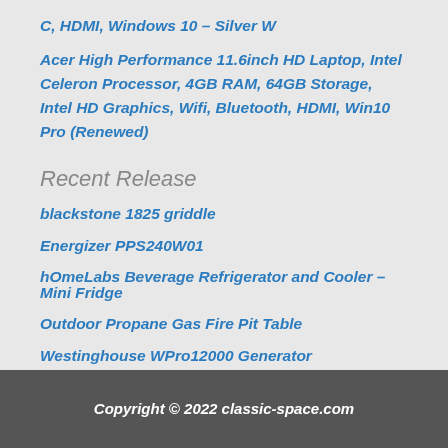C, HDMI, Windows 10 – Silver W
Acer High Performance 11.6inch HD Laptop, Intel Celeron Processor, 4GB RAM, 64GB Storage, Intel HD Graphics, Wifi, Bluetooth, HDMI, Win10 Pro (Renewed)
Recent Release
blackstone 1825 griddle
Energizer PPS240W01
hOmeLabs Beverage Refrigerator and Cooler – Mini Fridge
Outdoor Propane Gas Fire Pit Table
Westinghouse WPro12000 Generator
Copyright © 2022 classic-space.com